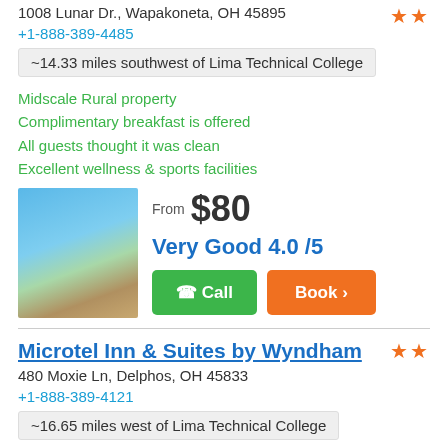1008 Lunar Dr., Wapakoneta, OH 45895
+1-888-389-4485
~14.33 miles southwest of Lima Technical College
Midscale Rural property
Complimentary breakfast is offered
All guests thought it was clean
Excellent wellness & sports facilities
From $80
Very Good 4.0 /5
Microtel Inn & Suites by Wyndham
480 Moxie Ln, Delphos, OH 45833
+1-888-389-4121
~16.65 miles west of Lima Technical College
Two star property
3 floors in property
From $60